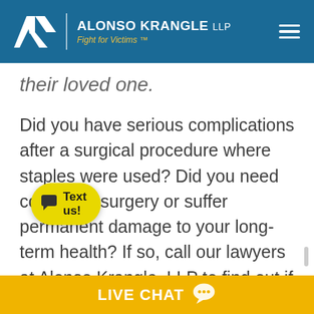ALONSO KRANGLE LLP — Fight for Victims™
their loved one.
Did you have serious complications after a surgical procedure where staples were used? Did you need corrective surgery or suffer permanent damage to your long-term health? If so, call our lawyers at Alonso Krangle, LLP to find out if you might qualify to file a claim against
Text us!
LIVE CHAT